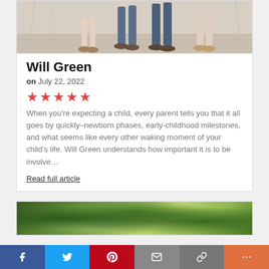[Figure (photo): Walking scene showing legs of people walking on a wooden deck/bridge]
Will Green
on July 22, 2022
[Figure (other): Five red star rating]
When you're expecting a child, every parent tells you that it all goes by quickly–newborn phases, early-childhood milestones, and what seems like every other waking moment of your child's life. Will Green understands how important it is to be involve...
Read full article
[Figure (photo): Blurred outdoor nature/foliage scene]
[Figure (other): Social sharing bar with Facebook, Twitter, Pinterest, Email, Link, and More buttons]